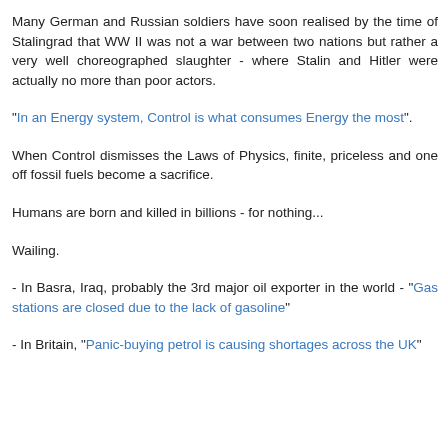Many German and Russian soldiers have soon realised by the time of Stalingrad that WW II was not a war between two nations but rather a very well choreographed slaughter - where Stalin and Hitler were actually no more than poor actors.
"In an Energy system, Control is what consumes Energy the most".
When Control dismisses the Laws of Physics, finite, priceless and one off fossil fuels become a sacrifice.
Humans are born and killed in billions - for nothing...
Wailing.
- In Basra, Iraq, probably the 3rd major oil exporter in the world - "Gas stations are closed due to the lack of gasoline"
- In Britain, "Panic-buying petrol is causing shortages across the UK"